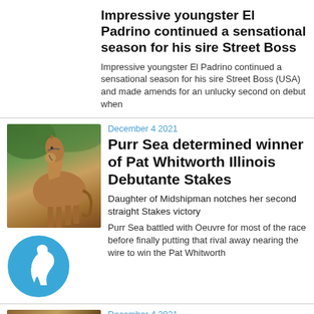Impressive youngster El Padrino continued a sensational season for his sire Street Boss
Impressive youngster El Padrino continued a sensational season for his sire Street Boss (USA) and made amends for an unlucky second on debut when
December 4 2021
Purr Sea determined winner of Pat Whitworth Illinois Debutante Stakes
Daughter of Midshipman notches her second straight Stakes victory
Purr Sea battled with Oeuvre for most of the race before finally putting that rival away nearing the wire to win the Pat Whitworth
[Figure (photo): Photo of a chestnut horse standing outdoors with green foliage background]
[Figure (logo): Blue circular icon with white horse head silhouette]
December 4 2021
[Figure (photo): Partial photo of a horse race scene]